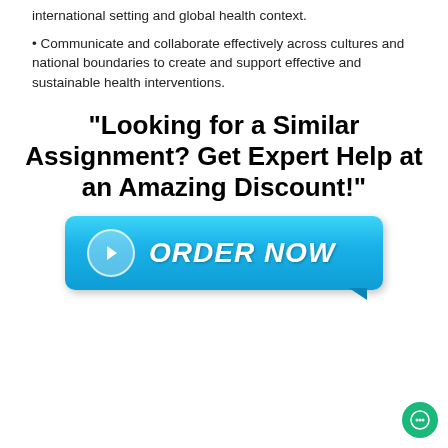international setting and global health context.
• Communicate and collaborate effectively across cultures and national boundaries to create and support effective and sustainable health interventions.
"Looking for a Similar Assignment? Get Expert Help at an Amazing Discount!"
[Figure (other): Blue rounded button with arrow icon and text ORDER NOW]